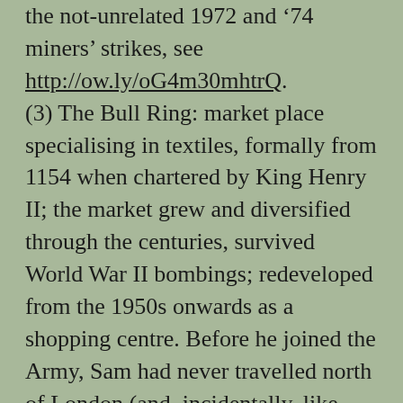the not-unrelated 1972 and ’74 miners’ strikes, see http://ow.ly/oG4m30mhtrQ. (3) The Bull Ring: market place specialising in textiles, formally from 1154 when chartered by King Henry II; the market grew and diversified through the centuries, survived World War II bombings; redeveloped from the 1950s onwards as a shopping centre. Before he joined the Army, Sam had never travelled north of London (and, incidentally, like many of his comrades, he never travelled abroad again after World War 1 even though he lived to be 88 – the cheap package holidays which started in the ’60s came too late for him). (4) That is, the civilian mode of life – in case you weren’t clear what Sam meant here.